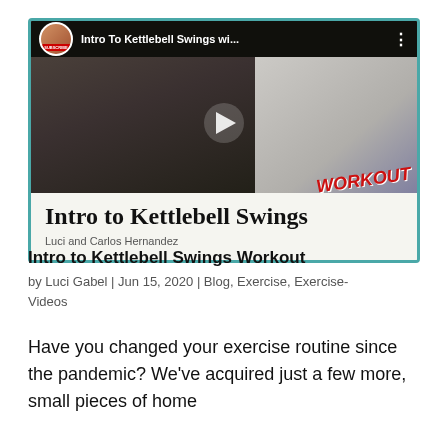[Figure (screenshot): YouTube video thumbnail card for 'Intro to Kettlebell Swings' by Luci and Carlos Hernandez, showing a gym scene with a man and a woman doing a kettlebell swing, with play button in center and WORKOUT text on the right. Below the thumbnail: title 'Intro to Kettlebell Swings' and subtitle 'Luci and Carlos Hernandez'.]
Intro to Kettlebell Swings Workout
by Luci Gabel | Jun 15, 2020 | Blog, Exercise, Exercise-Videos
Have you changed your exercise routine since the pandemic? We've acquired just a few more, small pieces of home